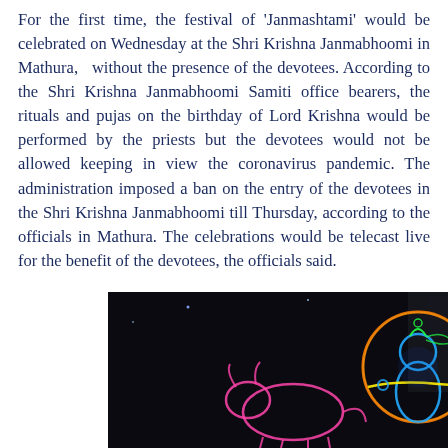For the first time, the festival of 'Janmashtami' would be celebrated on Wednesday at the Shri Krishna Janmabhoomi in Mathura,   without the presence of the devotees. According to the Shri Krishna Janmabhoomi Samiti office bearers, the rituals and pujas on the birthday of Lord Krishna would be performed by the priests but the devotees would not be allowed keeping in view the coronavirus pandemic. The administration imposed a ban on the entry of the devotees in the Shri Krishna Janmabhoomi till Thursday, according to the officials in Mathura. The celebrations would be telecast live for the benefit of the devotees, the officials said.
[Figure (photo): A nighttime neon light decoration depicting Lord Krishna playing a flute, with colorful neon outlines on a dark background, with a building visible behind.]